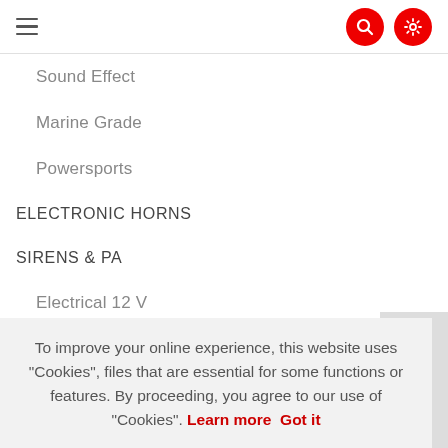Navigation menu header with hamburger icon, search button, and settings button
Sound Effect
Marine Grade
Powersports
ELECTRONIC HORNS
SIRENS & PA
Electrical 12V
Electrical 120V
Hand Operated
Megaphones
To improve your online experience, this website uses "Cookies", files that are essential for some functions or features. By proceeding, you agree to our use of "Cookies". Learn more  Got it